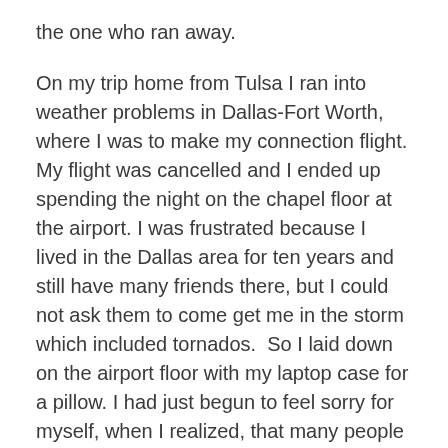the one who ran away.
On my trip home from Tulsa I ran into weather problems in Dallas-Fort Worth, where I was to make my connection flight. My flight was cancelled and I ended up spending the night on the chapel floor at the airport. I was frustrated because I lived in the Dallas area for ten years and still have many friends there, but I could not ask them to come get me in the storm which included tornados.  So I laid down on the airport floor with my laptop case for a pillow. I had just begun to feel sorry for myself, when I realized, that many people more noble than I sleep on hard floors every night. People more noble than I had just lost their homes and even lives in the Joplin tornado. People more noble than I sleep on the hard ground under bridges every night! I realized my nice